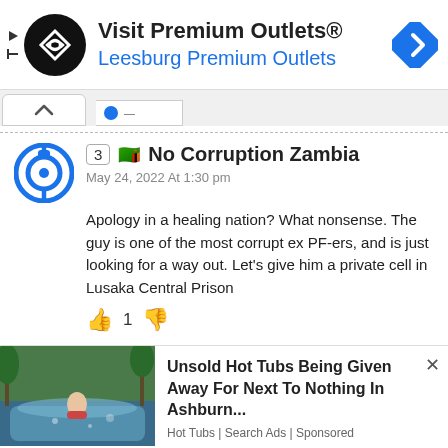[Figure (infographic): Advertisement banner: Visit Premium Outlets® with logo circle and navigation icon. Subtitle: Leesburg Premium Outlets]
3 🇿🇲 No Corruption Zambia
May 24, 2022 At 1:30 pm
Apology in a healing nation? What nonsense. The guy is one of the most corrupt ex PF-ers, and is just looking for a way out. Let's give him a private cell in Lusaka Central Prison
👍 1 👎
[Figure (infographic): Advertisement: Unsold Hot Tubs Being Given Away For Next To Nothing In Ashburn... Hot Tubs | Search Ads | Sponsored]